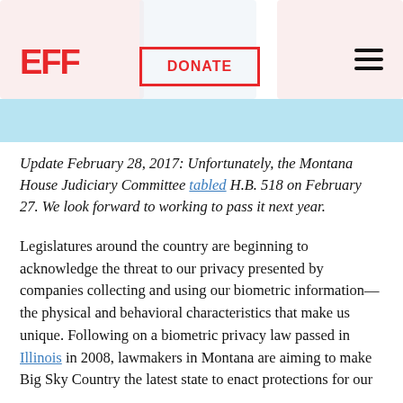EFF | DONATE
Update February 28, 2017: Unfortunately, the Montana House Judiciary Committee tabled H.B. 518 on February 27. We look forward to working to pass it next year.
Legislatures around the country are beginning to acknowledge the threat to our privacy presented by companies collecting and using our biometric information—the physical and behavioral characteristics that make us unique. Following on a biometric privacy law passed in Illinois in 2008, lawmakers in Montana are aiming to make Big Sky Country the latest state to enact protections for our